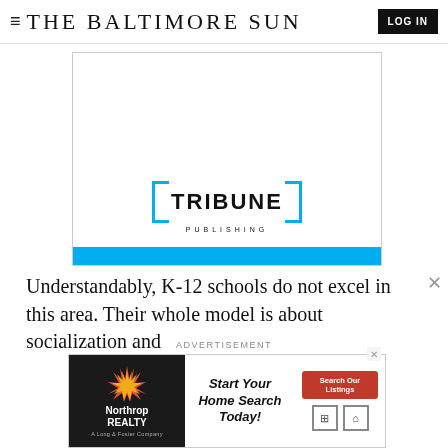≡ THE BALTIMORE SUN  LOG IN
[Figure (logo): Tribune Publishing advertisement banner with blue bracket logo and blue bottom bar]
Understandably, K-12 schools do not excel in this area. Their whole model is about socialization and
ADVERTISEMENT
[Figure (other): Northrop Realty advertisement: Start Your Home Search Today! with Search Our Listings button]